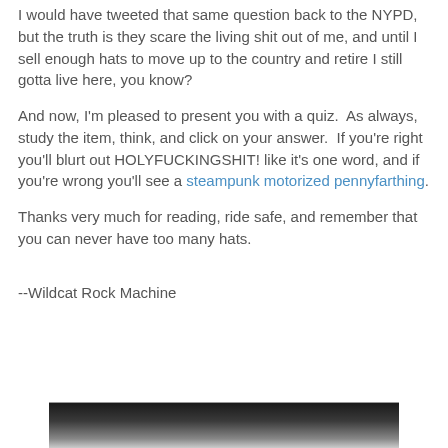I would have tweeted that same question back to the NYPD, but the truth is they scare the living shit out of me, and until I sell enough hats to move up to the country and retire I still gotta live here, you know?
And now, I'm pleased to present you with a quiz.  As always, study the item, think, and click on your answer.  If you're right you'll blurt out HOLYFUCKINGSHIT! like it's one word, and if you're wrong you'll see a steampunk motorized pennyfarthing.
Thanks very much for reading, ride safe, and remember that you can never have too many hats.
--Wildcat Rock Machine
[Figure (photo): Partial image strip at bottom of page, appears to be a dark photograph, mostly cut off]